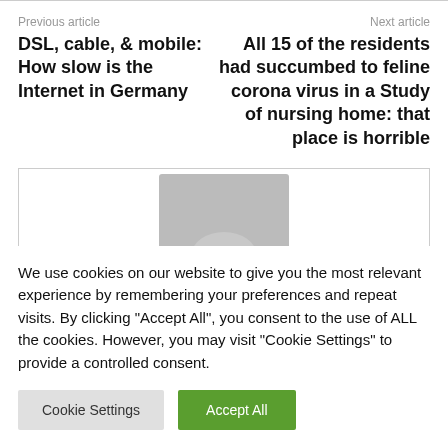Previous article
DSL, cable, & mobile: How slow is the Internet in Germany
Next article
All 15 of the residents had succumbed to feline corona virus in a Study of nursing home: that place is horrible
[Figure (photo): Placeholder image with grey background and rounded arch shape]
We use cookies on our website to give you the most relevant experience by remembering your preferences and repeat visits. By clicking "Accept All", you consent to the use of ALL the cookies. However, you may visit "Cookie Settings" to provide a controlled consent.